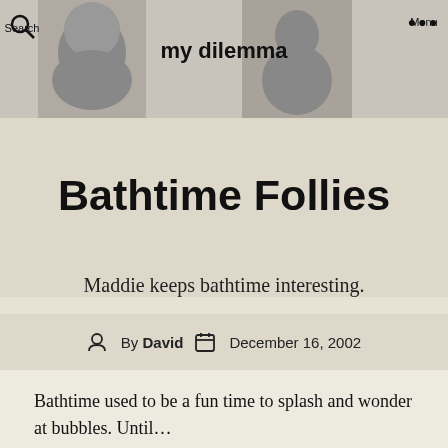Search  my dilemma  Menu
Bathtime Follies
Maddie keeps bathtime interesting.
By David  December 16, 2002
Bathtime used to be a fun time to splash and wonder at bubbles.  Until…